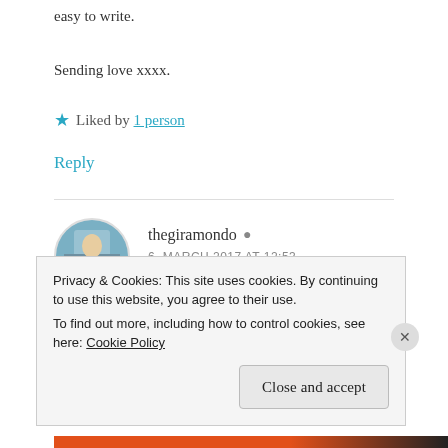easy to write.
Sending love xxxx.
Liked by 1 person
Reply
thegiramondo
6. MARCH 2017 AT 12:53
Dear Jessica, thank you for your kind words. I feel
Privacy & Cookies: This site uses cookies. By continuing to use this website, you agree to their use. To find out more, including how to control cookies, see here: Cookie Policy
Close and accept